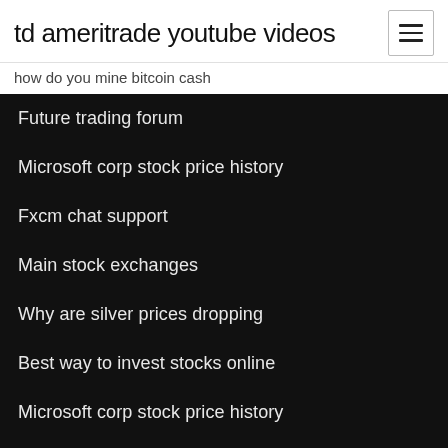td ameritrade youtube videos
how do you mine bitcoin cash
Future trading forum
Microsoft corp stock price history
Fxcm chat support
Main stock exchanges
Why are silver prices dropping
Best way to invest stocks online
Microsoft corp stock price history
Trading on margin questrade
Tags